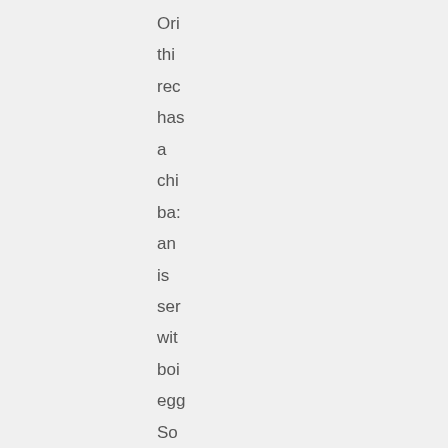Ori
thi
rec
has
a
chi
ba:
an
is
ser
wit
boi
eg
So
I
wa
no
su